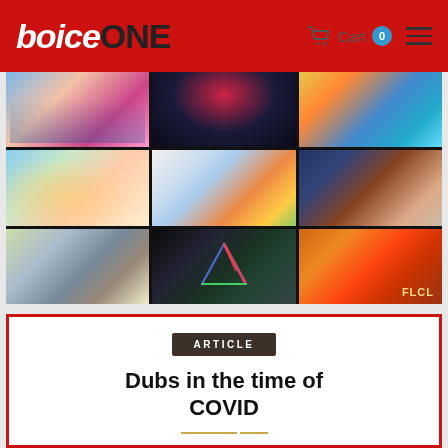VoiceONE — Cart 0
[Figure (photo): A grid of anime and pop culture poster artwork including Sailor Moon, dark anime character, One Piece, My Neighbor Totoro, Pokemon characters, fighting anime, Princess Mononoke, Dark Side of the Moon prism, and FLCL poster]
ARTICLE
Dubs in the time of COVID